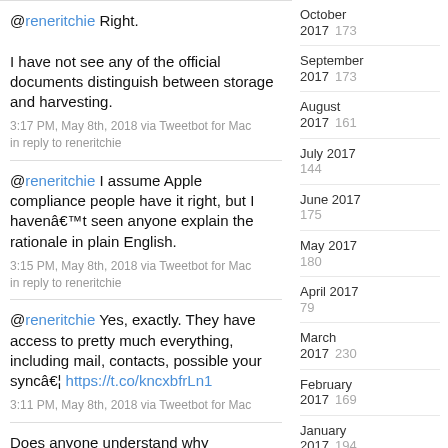@reneritchie Right.

I have not see any of the official documents distinguish between storage and harvesting.
3:17 PM, May 8th, 2018 via Tweetbot for Mac
in reply to reneritchie
@reneritchie I assume Apple compliance people have it right, but I havenâ€™t seen anyone explain the rationale in plain English.
3:15 PM, May 8th, 2018 via Tweetbot for Mac
in reply to reneritchie
@reneritchie Yes, exactly. They have access to pretty much everything, including mail, contacts, possible your syncâ€¦ https://t.co/kncxbfrLn1
3:11 PM, May 8th, 2018 via Tweetbot for Mac
Does anyone understand why Appleâ€™s personal data downloads…
October 2017   173
September 2017   173
August 2017   161
July 2017   144
June 2017   175
May 2017   180
April 2017   79
March 2017   230
February 2017   169
January 2017   194
December 2016   190
November 2016   206
October